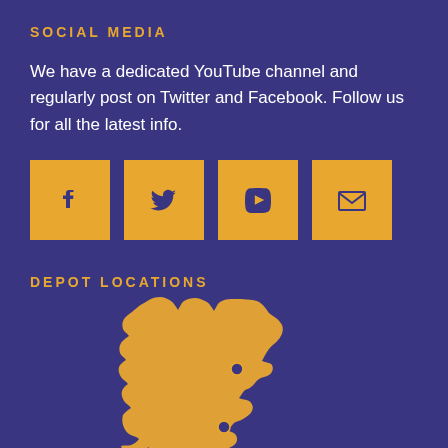SOCIAL MEDIA
We have a dedicated YouTube channel and regularly post on Twitter and Facebook. Follow us for all the latest info.
[Figure (infographic): Four gold square social media icon buttons for Facebook (f), Twitter (bird), YouTube (play button), and Email (envelope)]
DEPOT LOCATIONS
[Figure (map): Gold silhouette map of Great Britain and Northern Ireland on a dark purple background, with small circular depot location markers visible in Scotland and England areas]